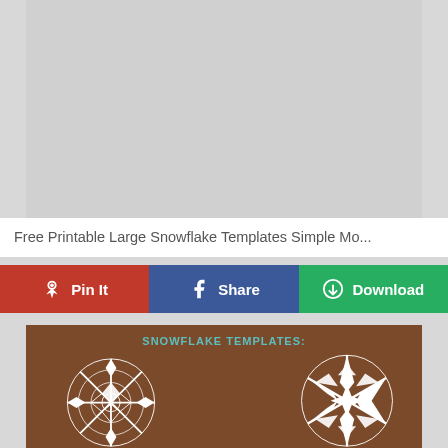[Figure (photo): Gray placeholder area representing a large image at the top of the page]
Free Printable Large Snowflake Templates Simple Mo...
Pin It | Share | Download (social share buttons)
[Figure (photo): Photo showing two white paper snowflake cutouts on a wooden brown background with text 'SNOWFLAKE TEMPLATES:' in teal at the top]